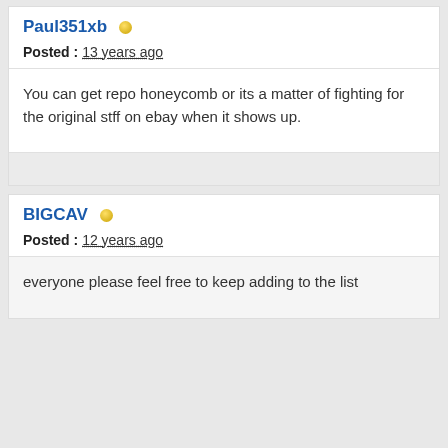Paul351xb
Posted : 13 years ago
You can get repo honeycomb or its a matter of fighting for the original stff on ebay when it shows up.
BIGCAV
Posted : 12 years ago
everyone please feel free to keep adding to the list